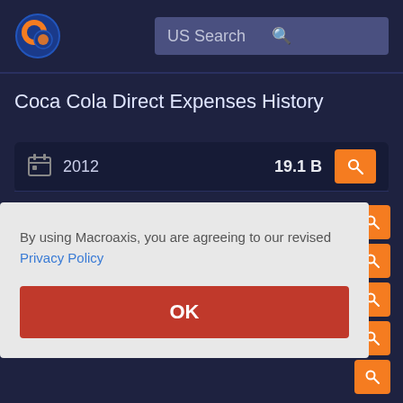[Figure (logo): Macroaxis globe logo - orange and blue circular icon]
US Search
Coca Cola Direct Expenses History
2012  19.1 B
By using Macroaxis, you are agreeing to our revised Privacy Policy
OK